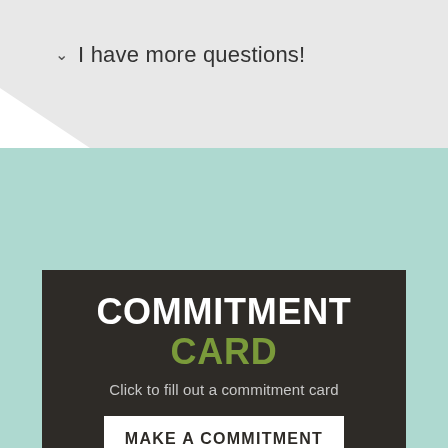I have more questions!
COMMITMENT CARD
Click to fill out a commitment card
MAKE A COMMITMENT